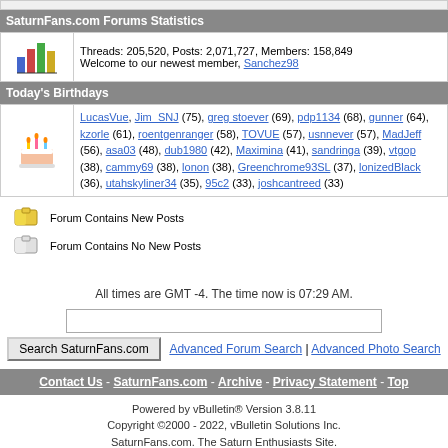SaturnFans.com Forums Statistics
Threads: 205,520, Posts: 2,071,727, Members: 158,849 Welcome to our newest member, Sanchez98
Today's Birthdays
LucasVue, Jim_SNJ (75), greg stoever (69), pdp1134 (68), gunner (64), kzorle (61), roentgenranger (58), TOVUE (57), usnnever (57), MadJeff (56), asa03 (48), dub1980 (42), Maximina (41), sandringa (39), vtgop (38), cammy69 (38), lonon (38), Greenchrome93SL (37), lonizedBlack (36), utahskyliner34 (35), 95c2 (33), joshcantreed (33)
Forum Contains New Posts
Forum Contains No New Posts
All times are GMT -4. The time now is 07:29 AM.
Contact Us - SaturnFans.com - Archive - Privacy Statement - Top
Powered by vBulletin® Version 3.8.11
Copyright ©2000 - 2022, vBulletin Solutions Inc.
SaturnFans.com. The Saturn Enthusiasts Site.